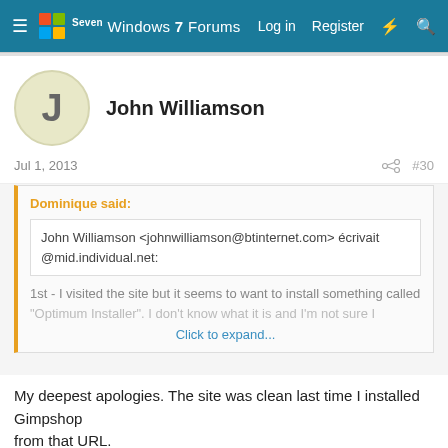Windows 7 Forums — Log in  Register
John Williamson
Jul 1, 2013  #30
Dominique said:
John Williamson <johnwilliamson@btinternet.com> écrivait @mid.individual.net:

1st - I visited the site but it seems to want to install something called
"Optimum Installer". I don't know what it is and I'm not sure I
Click to expand...
My deepest apologies. The site was clean last time I installed Gimpshop
from that URL.